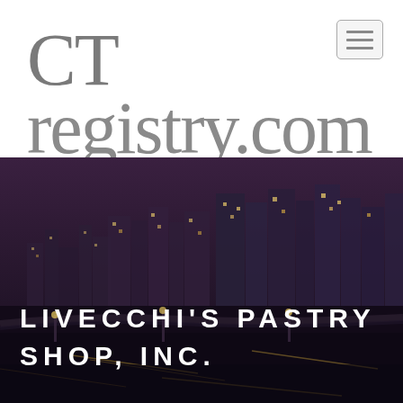CT registry.com
[Figure (screenshot): Hamburger menu button (three horizontal lines) in top right corner, styled with a light gray border]
[Figure (photo): City skyline at night with purple/dark toned sky and illuminated buildings]
LIVECCHI'S PASTRY SHOP, INC.